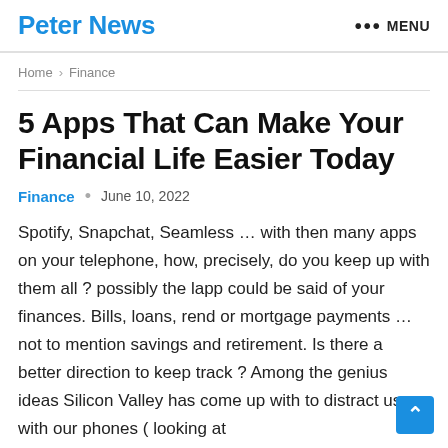Peter News   ••• MENU
Home › Finance
5 Apps That Can Make Your Financial Life Easier Today
Finance · June 10, 2022
Spotify, Snapchat, Seamless … with then many apps on your telephone, how, precisely, do you keep up with them all ? possibly the lapp could be said of your finances. Bills, loans, rend or mortgage payments … not to mention savings and retirement. Is there a better direction to keep track ? Among the genius ideas Silicon Valley has come up with to distract us with our phones ( looking at